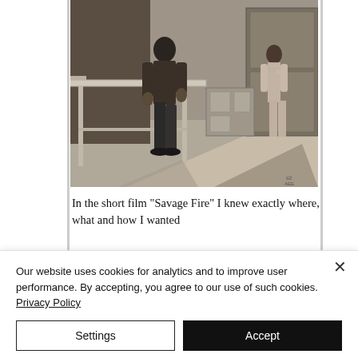[Figure (illustration): Black and white ink illustration showing a man standing in a room facing a woman near a wardrobe/cabinet. A table is visible in the foreground. The scene has dramatic shadowing typical of noir illustration style. Artist signature visible in lower right.]
In the short film "Savage Fire" I knew exactly where, what and how I wanted
Our website uses cookies for analytics and to improve user performance. By accepting, you agree to our use of such cookies. Privacy Policy